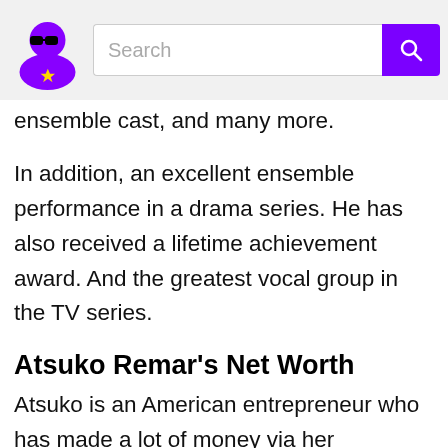Search
ensemble cast, and many more.
In addition, an excellent ensemble performance in a drama series. He has also received a lifetime achievement award. And the greatest vocal group in the TV series.
Atsuko Remar's Net Worth
Atsuko is an American entrepreneur who has made a lot of money via her business. Her true net worth, however, remains unknown. Her net worth is believed to be between $600,000 and $700,000 USD